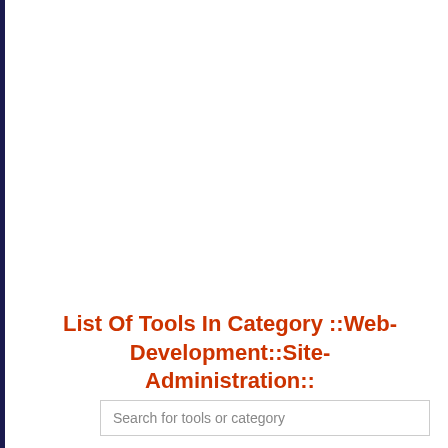List Of Tools In Category ::Web-Development::Site-Administration::
Search for tools or category